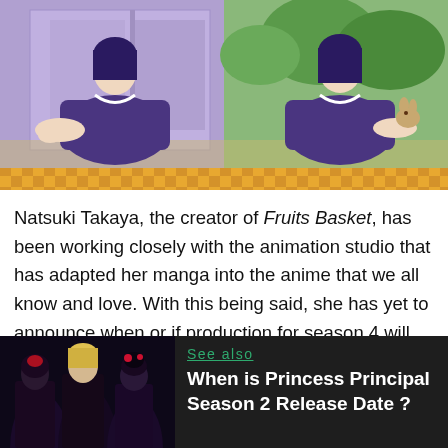[Figure (illustration): Anime scene from Fruits Basket showing two characters in purple robes kneeling, with a checkered gold/yellow decorative border at the bottom of the image.]
Natsuki Takaya, the creator of Fruits Basket, has been working closely with the animation studio that has adapted her manga into the anime that we all know and love. With this being said, she has yet to announce when or if production for season 4 will begin or has begun, but she has also yet to announce if there won't be any more special episodes created in the future. Fingers crossed for some good news!
[Figure (illustration): See also box with anime girls in dark outfits on the left side image panel.]
See also
When is Princess Principal Season 2 Release Date ?